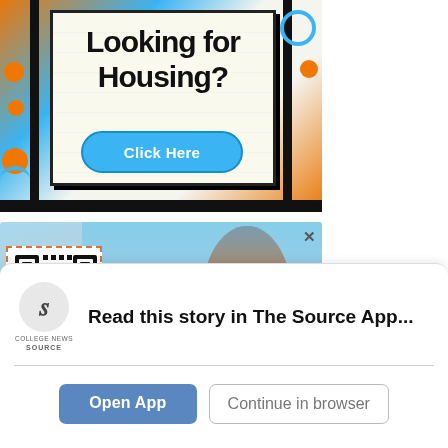[Figure (illustration): Advertisement banner with decorative orange and blue elements, notebook-style background with text 'Looking for Housing?' and a blue 'Click Here' button]
[Figure (photo): Advertisement showing a QR code on the left with a dashed orange border, and a smiling person on the right against a sky background with a pink circular element. An X close button is visible.]
Read this story in The Source App...
Open App
Continue in browser